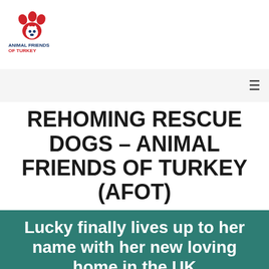[Figure (logo): Animal Friends of Turkey logo with red paw print and dog/cat silhouette]
[Figure (other): Hamburger menu icon (three horizontal lines)]
REHOMING RESCUE DOGS – ANIMAL FRIENDS OF TURKEY (AFOT)
Lucky finally lives up to her name with her new loving home in the UK